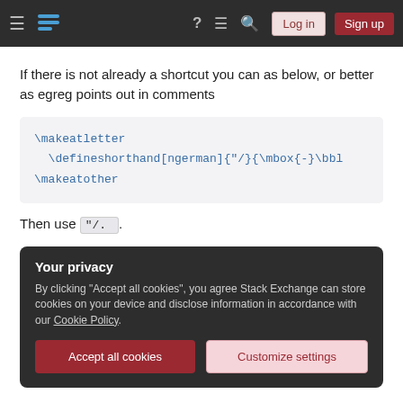Stack Exchange navigation bar with hamburger menu, logo, help, chat, search icons, Log in and Sign up buttons
If there is not already a shortcut you can as below, or better as egreg points out in comments
[Figure (screenshot): Code block showing LaTeX commands: \makeatletter, \defineshorthand[ngerman]{"/}{\mbox{-}\bbl, \makeatother]
Then use "/.
Your privacy
By clicking "Accept all cookies", you agree Stack Exchange can store cookies on your device and disclose information in accordance with our Cookie Policy.
Accept all cookies   Customize settings